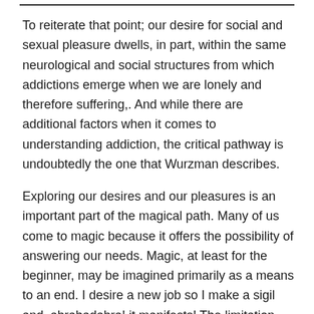To reiterate that point; our desire for social and sexual pleasure dwells, in part, within the same neurological and social structures from which addictions emerge when we are lonely and therefore suffering,. And while there are additional factors when it comes to understanding addiction, the critical pathway is undoubtedly the one that Wurzman describes.
Exploring our desires and our pleasures is an important part of the magical path. Many of us come to magic because it offers the possibility of answering our needs. Magic, at least for the beginner, may be imagined primarily as a means to an end. I desire a new job so I make a sigil and, abrahadabra! it manifests! The limitation with this approach is that it starts from what 'I' want but doesn't address the question of who is this 'I' that does the